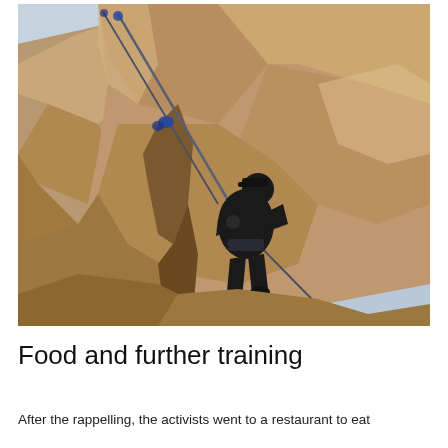[Figure (photo): A person dressed in black clothing and a black cap rappelling down a steep rocky cliff face using ropes. The rocky terrain is reddish-brown granite. In the background there are trees and an overcast sky.]
Food and further training
After the rappelling, the activists went to a restaurant to eat